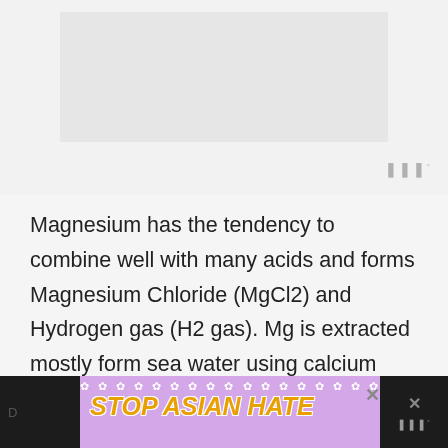[Figure (photo): Gray/white image placeholder area at the top of the page]
Magnesium has the tendency to combine well with many acids and forms Magnesium Chloride (MgCl2) and Hydrogen gas (H2 gas). Mg is extracted mostly form sea water using calcium hydroxide and exists in mineral form like dolomite, magnesite, carnallite, talc etc,
[Figure (photo): Advertisement banner at the bottom: 'STOP ASIAN HATE' in yellow bold italic text on a purple/lavender background with white flower decorations and an anime girl character. A close button (x) is visible.]